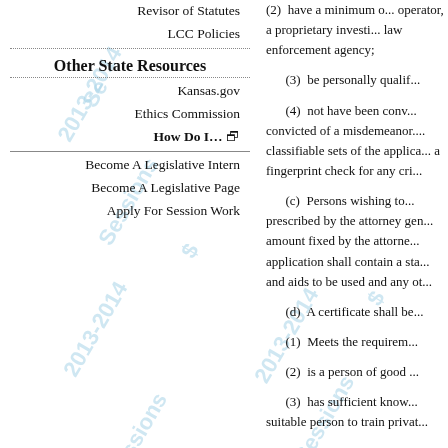Revisor of Statutes
LCC Policies
Other State Resources
Kansas.gov
Ethics Commission
How Do I… [external link]
Become A Legislative Intern
Become A Legislative Page
Apply For Session Work
(2) have a minimum [to be]... operator, a proprietary investi... law enforcement agency;

(3) be personally qualif...

(4) not have been conv... convicted of a misdemeanor.... classifiable sets of the applica... a fingerprint check for any cri...

(c) Persons wishing to... prescribed by the attorney gen... amount fixed by the attorne... application shall contain a sta... and aids to be used and any ot...

(d) A certificate shall be...

(1) Meets the requirem...

(2) is a person of good ...

(3) has sufficient know... suitable person to train privat...